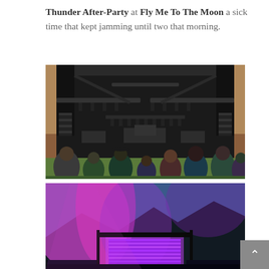Thunder After-Party at Fly Me To The Moon a sick time that kept jamming until two that morning.
[Figure (photo): Concert stage photo showing large black stage with rigging, lighting rigs, speaker arrays on sides, instruments set up on stage, crowd visible in foreground from behind]
[Figure (photo): Concert photo with purple/magenta stage lighting and blue sky, illuminated screen visible, taken from crowd perspective]